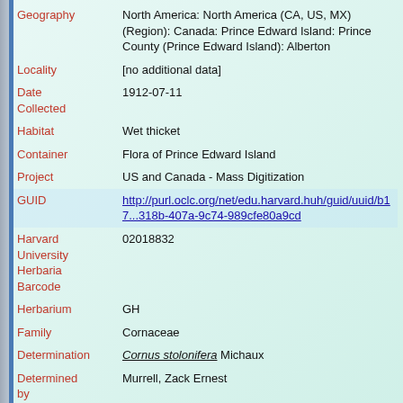| Field | Value |
| --- | --- |
| Geography | North America: North America (CA, US, MX) (Region): Canada: Prince Edward Island: Prince County (Prince Edward Island): Alberton |
| Locality | [no additional data] |
| Date Collected | 1912-07-11 |
| Habitat | Wet thicket |
| Container | Flora of Prince Edward Island |
| Project | US and Canada - Mass Digitization |
| GUID | http://purl.oclc.org/net/edu.harvard.huh/guid/uuid/b17...318b-407a-9c74-989cfe80a9cd |
| Harvard University Herbaria Barcode | 02018832 |
| Herbarium | GH |
| Family | Cornaceae |
| Determination | Cornus stolonifera Michaux |
| Determined by | Murrell, Zack Ernest |
| Date Determined | 1992 |